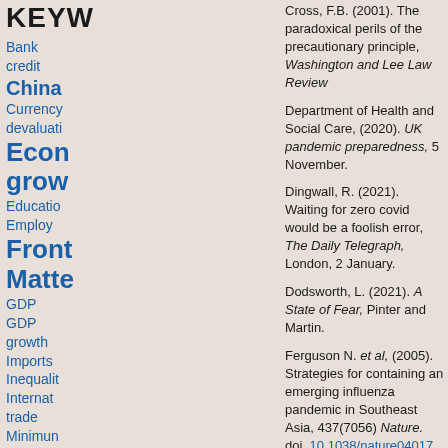KEYW
Bank credit
China
Currency devaluati
Econ
grow
Educatio
Employ
Front
Matte
GDP
GDP growth
Imports
Inequalit
Internat trade
Minimun wage
Monet
policy
Political
Econom
Politica econor
Cross, F.B. (2001). The paradoxical perils of the precautionary principle, Washington and Lee Law Review
Department of Health and Social Care, (2020). UK pandemic preparedness, 5 November.
Dingwall, R. (2021). Waiting for zero covid would be a foolish error, The Daily Telegraph, London, 2 January.
Dodsworth, L. (2021). A State of Fear, Pinter and Martin.
Ferguson N. et al, (2005). Strategies for containing an emerging influenza pandemic in Southeast Asia, 437(7056) Nature. doi. 10.1038/nature04017
Goklany, I.M. (2001). The Precautionary Principle, Cato Institute.
Gramsci, A. (1977). Address to the anarchists' in Selections from the Political Writings 1910-20, Lawrence and Wishart.
Hayek, F.A. (2014). The theory of